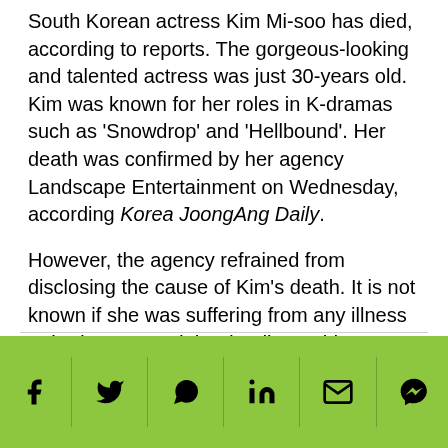South Korean actress Kim Mi-soo has died, according to reports. The gorgeous-looking and talented actress was just 30-years old. Kim was known for her roles in K-dramas such as 'Snowdrop' and 'Hellbound'. Her death was confirmed by her agency Landscape Entertainment on Wednesday, according Korea JoongAng Daily.
However, the agency refrained from disclosing the cause of Kim's death. It is not known if she was suffering from any illness or had contracted the deadly Covid-19. News of her death sent shock waves across the film fraternity in South Korea as Kim has shot to stardom within a short span of her career.
Untimely Death
[Figure (other): Social media share bar with icons for Facebook, Twitter, WhatsApp, LinkedIn, Email, and Messenger on a green background]